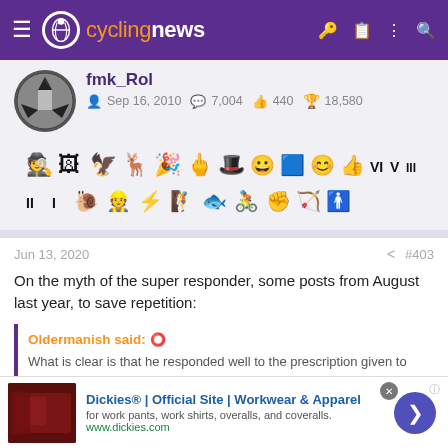cyclingnews
fmk_Rol
Sep 16, 2010  7,004  440  18,580
[Figure (other): User achievement badges and icons row]
Jun 13, 2020  #403
On the myth of the super responder, some posts from August last year, to save repetition:
Oldermanish said:
What is clear is that he responded well to the prescription given to
[Figure (other): Advertisement banner: Dickies® | Official Site | Workwear & Apparel, for work pants, work shirts, overalls, and coveralls. www.dickies.com]